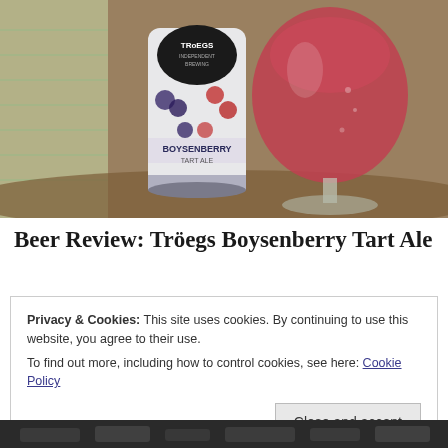[Figure (photo): A can of Troegs Boysenberry Tart Ale next to a large goblet glass filled with pinkish-red beer, sitting on a wooden table near a window.]
Beer Review: Tröegs Boysenberry Tart Ale
Privacy & Cookies: This site uses cookies. By continuing to use this website, you agree to their use.
To find out more, including how to control cookies, see here: Cookie Policy
Close and accept
[Figure (photo): Partial view of a second photo at the bottom of the page, appears dark.]